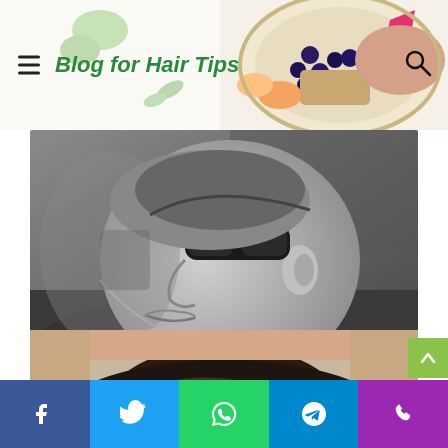Blog for Hair Tips
[Figure (photo): Black and white close-up profile photo of a person with a high bald fade haircut, looking upward, wearing sunglasses on top of head]
High Bald Fade with Line Up and Brush Up
[Figure (photo): Partial photo of a person with dark brushed-up hair, top of head visible at bottom of page]
Social share buttons: Facebook, Twitter, WhatsApp, Telegram, Phone